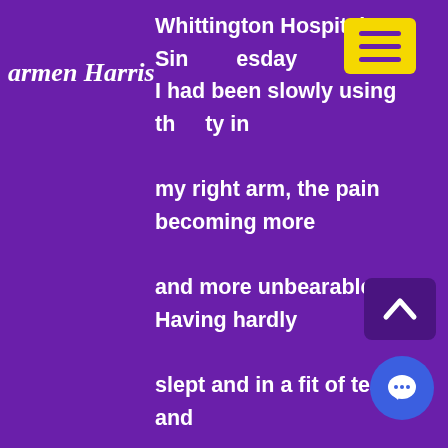armen Harris
Whittington Hospital. Since Tuesday I had been slowly using the ability in my right arm, the pain becoming more and more unbearable. Having hardly slept and in a fit of tears and desperation I decided that I needed to seek medical help.  A couple of hours later, I left the Whittington with a considerable amount of very strong painkillers and a diagnosis of a 'Frozen Shoulder,' something that could happen to anyone at any time. It sounded so harmless but meant that I was going to spend the next month in excruciating